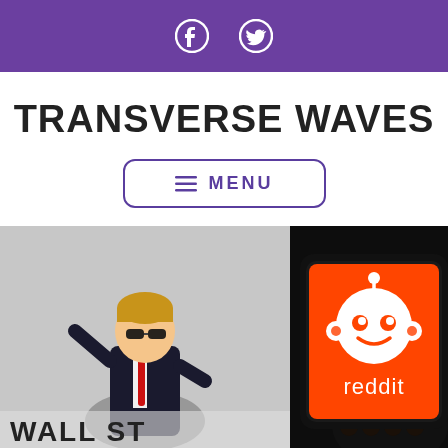Social media icons: Facebook, Twitter
TRANSVERSE WAVES
☰ MENU
[Figure (photo): A hand holding a smartphone displaying the Reddit logo (white alien mascot on orange background with 'reddit' text) in front of a blurred screen showing a cartoon character in a suit with sunglasses and a 'WALL ST' sign in the background.]